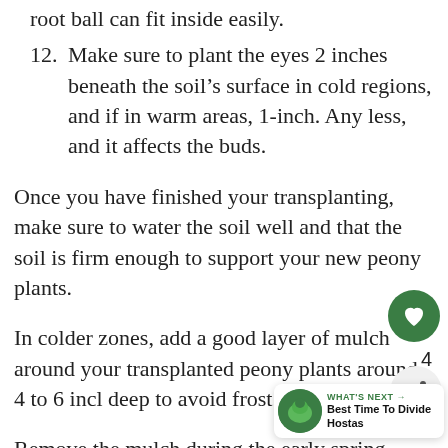12. Make sure to plant the eyes 2 inches beneath the soil's surface in cold regions, and if in warm areas, 1-inch. Any less, and it affects the buds.
Once you have finished your transplanting, make sure to water the soil well and that the soil is firm enough to support your new peony plants.
In colder zones, add a good layer of mulch around your transplanted peony plants around 4 to 6 inches deep to avoid frost.
Remove the mulch during the early spring before any new growth on the plant.